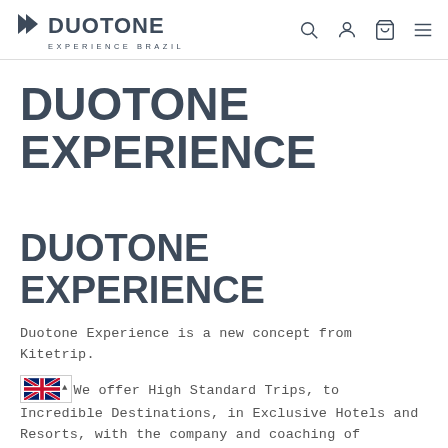DUOTONE EXPERIENCE BRAZIL — navigation with search, account, cart, menu icons
DUOTONE EXPERIENCE
DUOTONE EXPERIENCE
Duotone Experience is a new concept from Kitetrip.
We offer High Standard Trips, to Incredible Destinations, in Exclusive Hotels and Resorts, with the company and coaching of Professional Athletes.